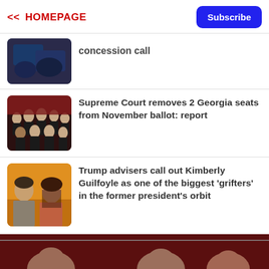<< HOMEPAGE | Subscribe
concession call
Supreme Court removes 2 Georgia seats from November ballot: report
Trump advisers call out Kimberly Guilfoyle as one of the biggest 'grifters' in the former president's orbit